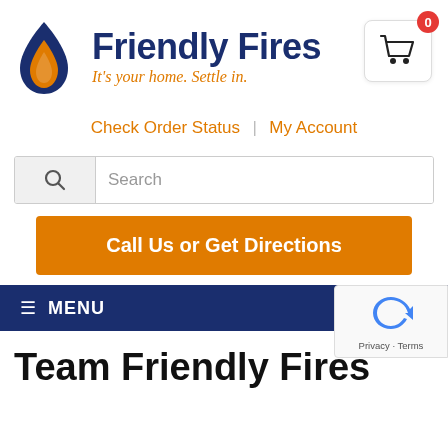[Figure (logo): Friendly Fires logo with flame icon (navy and orange drop/flame shape), brand name 'Friendly Fires' in dark navy bold, tagline 'It’s your home. Settle in.' in orange italic, shopping cart icon with red badge showing 0]
Check Order Status | My Account
Search
Call Us or Get Directions
≡ MENU
[Figure (other): reCAPTCHA widget partial view showing spinning arrows logo and 'Privacy - Terms' text]
Team Friendly Fires